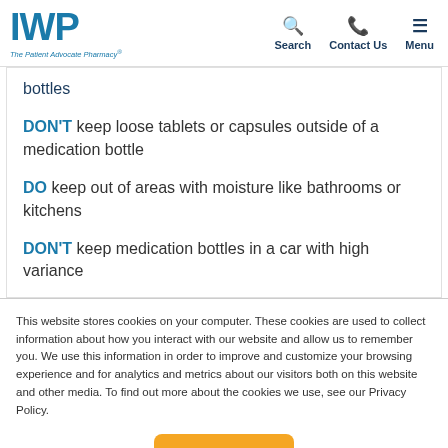IWP — The Patient Advocate Pharmacy | Search | Contact Us | Menu
bottles
DON'T keep loose tablets or capsules outside of a medication bottle
DO keep out of areas with moisture like bathrooms or kitchens
DON'T keep medication bottles in a car with high variance
This website stores cookies on your computer. These cookies are used to collect information about how you interact with our website and allow us to remember you. We use this information in order to improve and customize your browsing experience and for analytics and metrics about our visitors both on this website and other media. To find out more about the cookies we use, see our Privacy Policy.
Accept